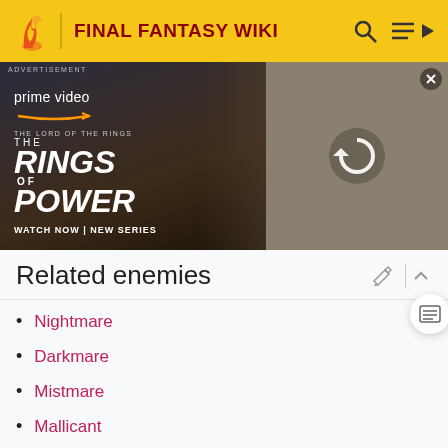FINAL FANTASY WIKI
[Figure (screenshot): Amazon Prime Video advertisement for The Lord of the Rings: The Rings of Power. Left side shows dark fantasy warrior figure with text 'prime video', 'THE LORD OF THE RINGS THE RINGS OF POWER', 'WATCH NOW | NEW SERIES'. Right side shows a scene with blond woman and others in natural setting with a reload icon overlay and close button.]
Related enemies
Nightmare
Darkmare
Mistmare
Mallicant
Braegh (Mark)
Firemane (Boss)
Pallicant (Rare)